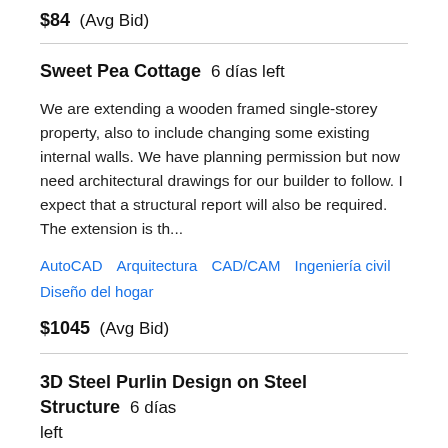$84  (Avg Bid)
Sweet Pea Cottage  6 días left
We are extending a wooden framed single-storey property, also to include changing some existing internal walls. We have planning permission but now need architectural drawings for our builder to follow. I expect that a structural report will also be required. The extension is th...
AutoCAD   Arquitectura   CAD/CAM   Ingeniería civil   Diseño del hogar
$1045  (Avg Bid)
3D Steel Purlin Design on Steel Structure  6 días left
URGENT - TIME SENSITIVE We require a 3D Steel Design Drawings & Fabrication drawings for secondary Purlin in the provided model (link provided), along with suitable